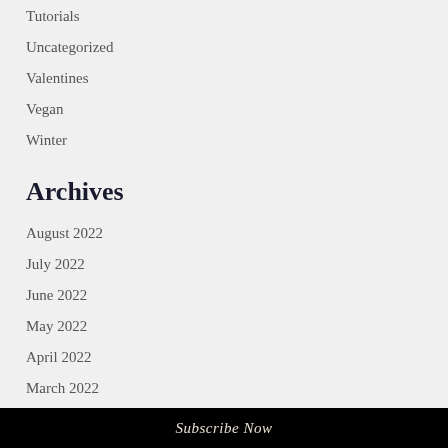Tutorials
Uncategorized
Valentines
Vegan
Winter
Archives
August 2022
July 2022
June 2022
May 2022
April 2022
March 2022
Subscribe Now